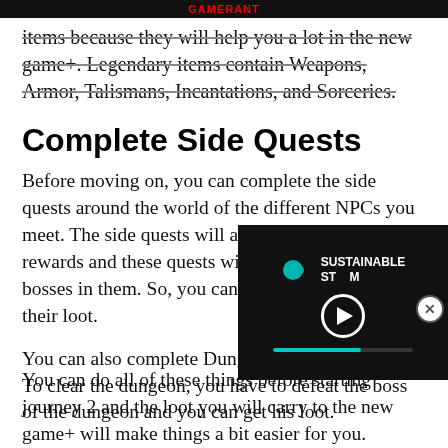GAMERANT
items because they will help you a lot in the new game+. Legendary items contain Weapons, Armor, Talismans, Incantations, and Sorceries.
Complete Side Quests
Before moving on, you can complete the side quests around the world of the different NPCs you meet. The side quests will also give you different rewards and these quests will also have some side bosses in them. So, you can defeat them and get their loot.
You can also complete Dungeons around the world. To clear the dungeon, you have to defeat the boss of the dungeon and you can get his loot.
[Figure (other): Video player overlay showing Sustainable Stream logo with play button and progress bar]
You can do all of these things before starting journey 2 and the loot you will carry to the new game+ will make things a bit easier for you.